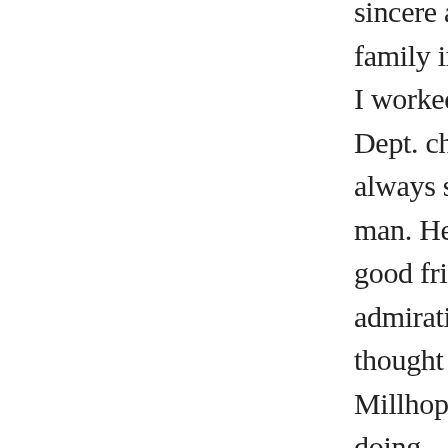sincere and heartfelt condolences to your family in your loss. I got to know him when I worked as secretary to the Agronomy Dept. chairman from 1990-1996. He was always such a pleasant, friendly, cordial man. He and my late husband, Merrill, were good friends and both of us had deep admiration and respect for Dr. Whitty. I thought of him often when driving on Millhopper Road and wondered how he was doing.

I believe the last time I saw him was at Merrill's memorial service in September of 2014. I regret that I was unaware of Ben's passing and did not attend his memorial service.